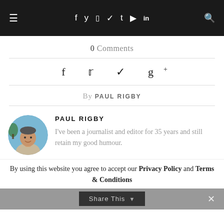≡  f  y  ☎  ✿  t  ▶  in  🔍
0 Comments
f  🐦  ✿  g+
By PAUL RIGBY
PAUL RIGBY
I've been a journalist and editor for 35 years and still retain my good humour.
By using this website you agree to accept our Privacy Policy and Terms & Conditions
Share This